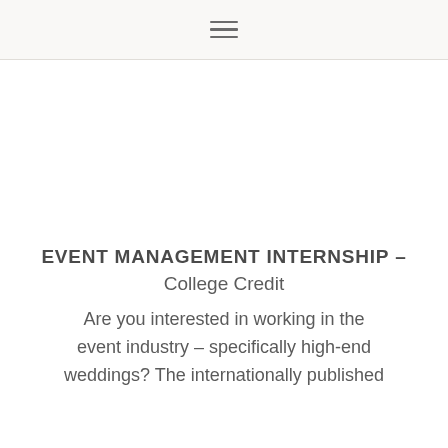≡
EVENT MANAGEMENT INTERNSHIP – College Credit
Are you interested in working in the event industry – specifically high-end weddings? The internationally published